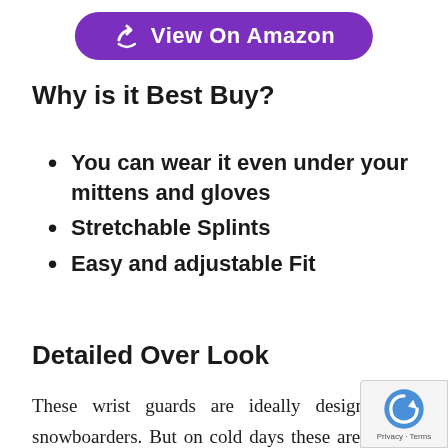[Figure (other): Purple rounded button with arrow icon and text 'View On Amazon']
Why is it Best Buy?
You can wear it even under your mittens and gloves
Stretchable Splints
Easy and adjustable Fit
Detailed Over Look
These wrist guards are ideally designed for snowboarders. But on cold days these are perfect for skating and even rollerblading as well. They are designed with a cavity underneath that allows a